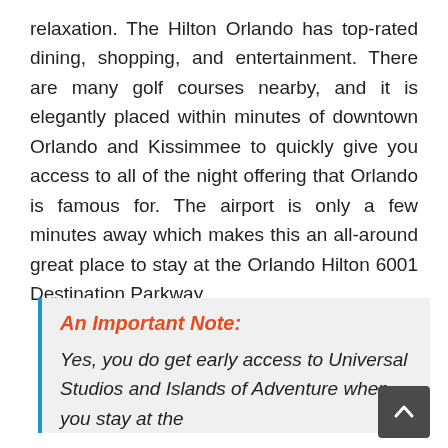relaxation. The Hilton Orlando has top-rated dining, shopping, and entertainment. There are many golf courses nearby, and it is elegantly placed within minutes of downtown Orlando and Kissimmee to quickly give you access to all of the night offering that Orlando is famous for. The airport is only a few minutes away which makes this an all-around great place to stay at the Orlando Hilton 6001 Destination Parkway.
An Important Note:
Yes, you do get early access to Universal Studios and Islands of Adventure when you stay at the